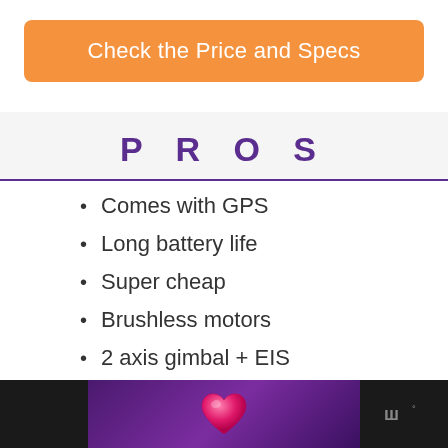Check the Price and Specs
P R O S
Comes with GPS
Long battery life
Super cheap
Brushless motors
2 axis gimbal + EIS
[Figure (illustration): Footer bar with a pink heart icon on purple gradient background, flanked by dark side panels with a logo mark on the right]